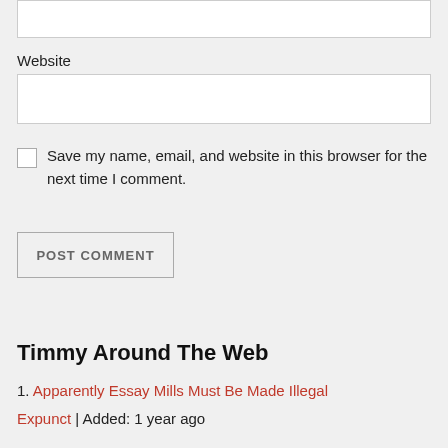Website
Save my name, email, and website in this browser for the next time I comment.
POST COMMENT
Timmy Around The Web
1. Apparently Essay Mills Must Be Made Illegal Expunct | Added: 1 year ago